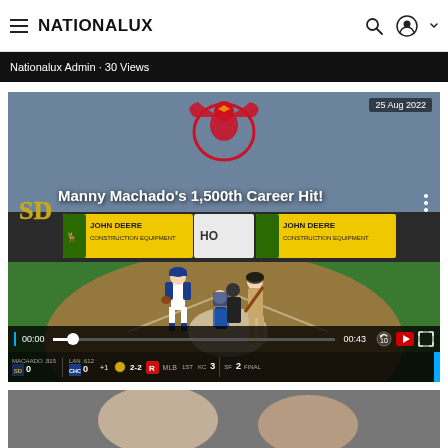NATIONALUX
Nationalux Admin · 30 Views
[Figure (screenshot): Baseball video player screenshot showing Manny Machado's 1,500th Career Hit at a MLB game. Date: 25 Aug 2022. Video shows pitcher on mound, batter and catcher at plate, John Deere advertising banners visible. San Diego Padres logo visible at left. Video controls show 00:00 / 00:43 timestamp.]
Manny Machado's 1,500th Career Hit!